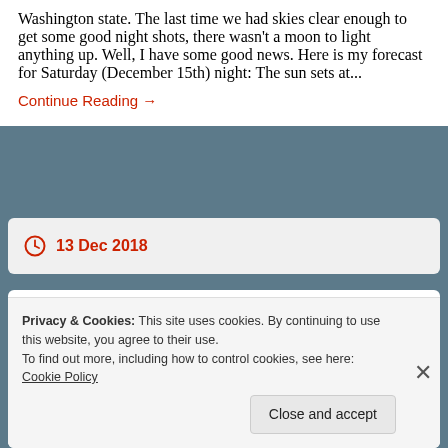Washington state. The last time we had skies clear enough to get some good night shots, there wasn't a moon to light anything up. Well, I have some good news. Here is my forecast for Saturday (December 15th) night: The sun sets at...
Continue Reading →
13 Dec 2018
The results are in...
Privacy & Cookies: This site uses cookies. By continuing to use this website, you agree to their use.
To find out more, including how to control cookies, see here: Cookie Policy
Close and accept